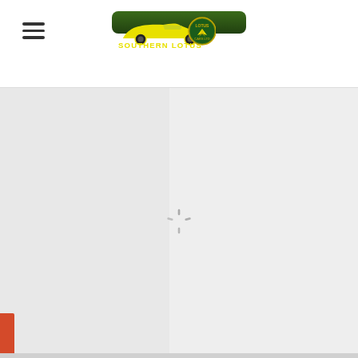Southern Lotus dealer website header with hamburger menu and logo
[Figure (screenshot): Loading state of Southern Lotus website showing a spinner in the center of the page content area, with a left panel and right panel separated by a vertical divider. A red accent bar appears on the left side. The page header contains a hamburger menu icon on the left and the Southern Lotus logo (green background with yellow car silhouette and Lotus emblem) centered.]